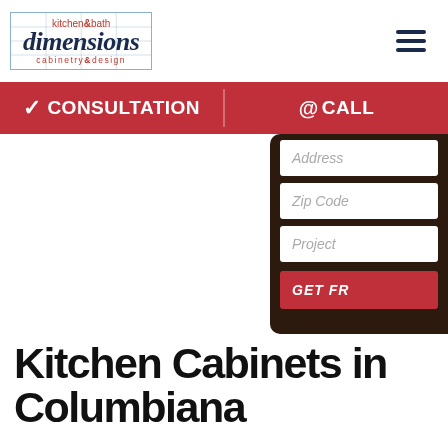[Figure (logo): Kitchen & Bath Dimensions cabinetry & design logo with blue grid border, red and navy text]
[Figure (other): Hamburger menu icon (three horizontal lines)]
✓ CONSULTATION
@ CALL
[Figure (screenshot): Dark brown background with white form fields: Address, Zip Code, Project, and a red GET FR... button]
Kitchen Cabinets in Columbiana